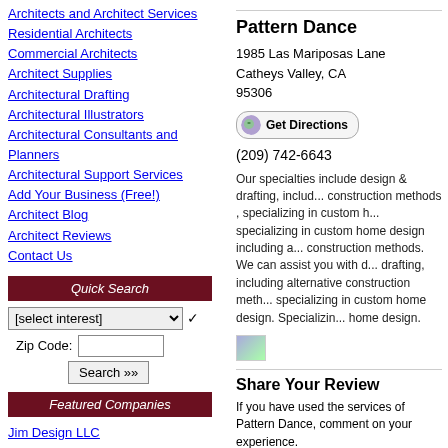Architects and Architect Services
Residential Architects
Commercial Architects
Architect Supplies
Architectural Drafting
Architectural Illustrators
Architectural Consultants and Planners
Architectural Support Services
Add Your Business (Free!)
Architect Blog
Architect Reviews
Contact Us
Quick Search
[select interest]
Zip Code:
Search »»
Featured Companies
Jim Design LLC in Wexford, PA
Bello Architecture in Mount Kisco, NY
Pattern Dance
1985 Las Mariposas Lane
Catheys Valley, CA
95306
Get Directions
(209) 742-6643
Our specialties include design & drafting, including alternative construction methods , specializing in custom home design including alternative construction methods. We can assist you with design & drafting, including alternative construction methods, specializing in custom home design. Specializing in custom home design.
[Figure (photo): Small thumbnail image placeholder]
Share Your Review
If you have used the services of Pattern Dance, comment on your experience.
Your Name: